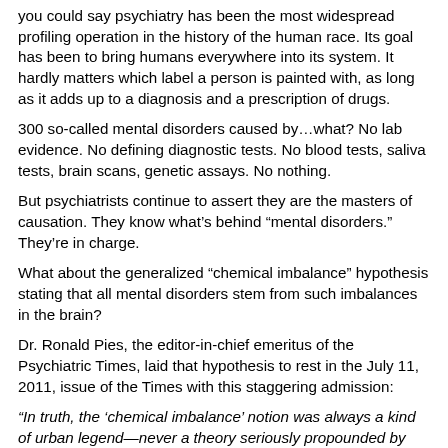you could say psychiatry has been the most widespread profiling operation in the history of the human race. Its goal has been to bring humans everywhere into its system. It hardly matters which label a person is painted with, as long as it adds up to a diagnosis and a prescription of drugs.
300 so-called mental disorders caused by…what? No lab evidence. No defining diagnostic tests. No blood tests, saliva tests, brain scans, genetic assays. No nothing.
But psychiatrists continue to assert they are the masters of causation. They know what's behind “mental disorders.” They’re in charge.
What about the generalized “chemical imbalance” hypothesis stating that all mental disorders stem from such imbalances in the brain?
Dr. Ronald Pies, the editor-in-chief emeritus of the Psychiatric Times, laid that hypothesis to rest in the July 11, 2011, issue of the Times with this staggering admission:
“In truth, the ‘chemical imbalance’ notion was always a kind of urban legend—never a theory seriously propounded by well-informed psychiatrists.”